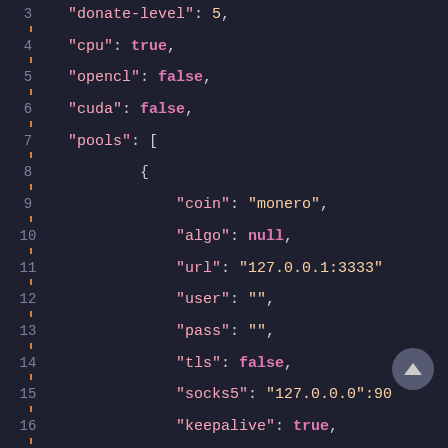[Figure (screenshot): Code editor screenshot showing JSON configuration file lines 3 through 18, with dark background. Keys shown in pink, string values in yellow-orange, boolean/null keywords in bold pink. Line numbers appear on the left with orange underlines.]